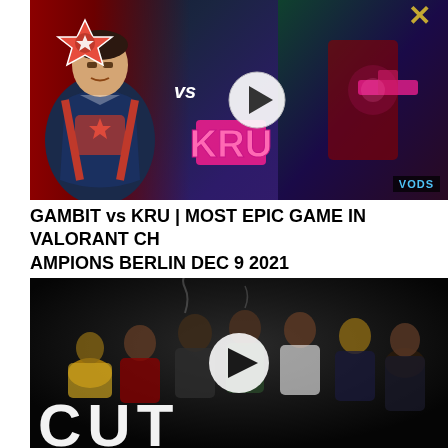[Figure (screenshot): Video thumbnail showing a Valorant esports match: GAMBIT vs KRU, with a player in a varsity jacket on the left, Gambit logo (red star), vs text, play button, KRU logo in pink/magenta, and a Valorant in-game screenshot on the right with VODS badge]
GAMBIT vs KRU | MOST EPIC GAME IN VALORANT CHAMPIONS BERLIN DEC 9 2021
[Figure (screenshot): Video thumbnail showing a group of people seated and standing in a dark studio setting with a play button overlay and the word CUT partially visible at the bottom]